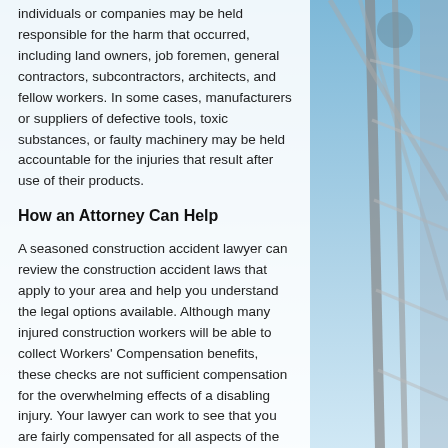individuals or companies may be held responsible for the harm that occurred, including land owners, job foremen, general contractors, subcontractors, architects, and fellow workers. In some cases, manufacturers or suppliers of defective tools, toxic substances, or faulty machinery may be held accountable for the injuries that result after use of their products.
How an Attorney Can Help
A seasoned construction accident lawyer can review the construction accident laws that apply to your area and help you understand the legal options available. Although many injured construction workers will be able to collect Workers' Compensation benefits, these checks are not sufficient compensation for the overwhelming effects of a disabling injury. Your lawyer can work to see that you are fairly compensated for all aspects of the ordeal, including pain and suffering, medical expenses, estimated future medical care, and other related damages.
To speak with a knowledgeable construction accident attorney near you, please search our database of construction accident attorneys. With our online database...